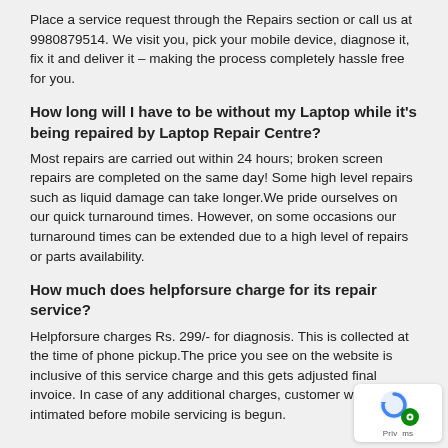Place a service request through the Repairs section or call us at 9980879514. We visit you, pick your mobile device, diagnose it, fix it and deliver it – making the process completely hassle free for you.
How long will I have to be without my Laptop while it's being repaired by Laptop Repair Centre?
Most repairs are carried out within 24 hours; broken screen repairs are completed on the same day! Some high level repairs such as liquid damage can take longer.We pride ourselves on our quick turnaround times. However, on some occasions our turnaround times can be extended due to a high level of repairs or parts availability.
How much does helpforsure charge for its repair service?
Helpforsure charges Rs. 299/- for diagnosis. This is collected at the time of phone pickup.The price you see on the website is inclusive of this service charge and this gets adjusted final invoice. In case of any additional charges, customer would be intimated before mobile servicing is begun.